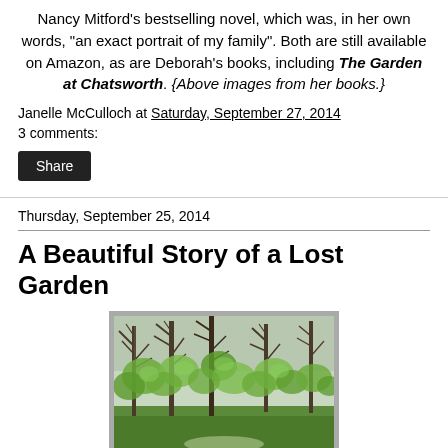Nancy Mitford's bestselling novel, which was, in her own words, "an exact portrait of my family". Both are still available on Amazon, as are Deborah's books, including The Garden at Chatsworth. {Above images from her books.}
Janelle McCulloch at Saturday, September 27, 2014
3 comments:
Share
Thursday, September 25, 2014
A Beautiful Story of a Lost Garden
[Figure (photo): A lush garden scene with tall bare-branched trees and bright green foliage in a naturalistic wooded garden setting, shown inside a gray-framed image.]